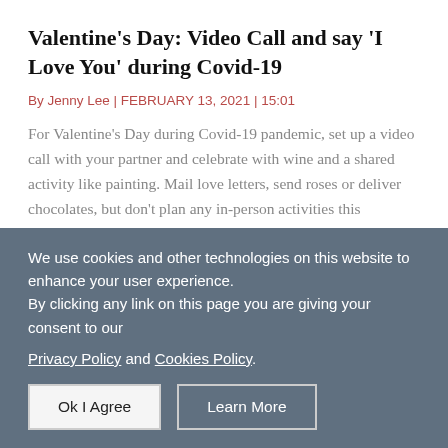Valentine's Day: Video Call and say 'I Love You' during Covid-19
By Jenny Lee | FEBRUARY 13, 2021 | 15:01
For Valentine's Day during Covid-19 pandemic, set up a video call with your partner and celebrate with wine and a shared activity like painting. Mail love letters, send roses or deliver chocolates, but don't plan any in-person activities this Valentine's Day with people outside your household.
We use cookies and other technologies on this website to enhance your user experience.
By clicking any link on this page you are giving your consent to our Privacy Policy and Cookies Policy.
Ok I Agree
Learn More